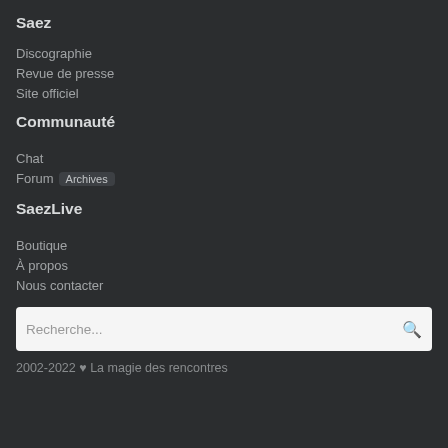Saez
Discographie
Revue de presse
Site officiel
Communauté
Chat
Forum Archives
SaezLive
Boutique
À propos
Nous contacter
Recherche...
2002-2022 ♥ La magie des rencontres